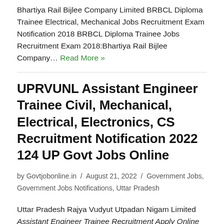Bhartiya Rail Bijlee Company Limited BRBCL Diploma Trainee Electrical, Mechanical Jobs Recruitment Exam Notification 2018 BRBCL Diploma Trainee Jobs Recruitment Exam 2018:Bhartiya Rail Bijlee Company… Read More »
UPRVUNL Assistant Engineer Trainee Civil, Mechanical, Electrical, Electronics, CS Recruitment Notification 2022 124 UP Govt Jobs Online
by Govtjobonline.in / August 21, 2022 / Government Jobs, Government Jobs Notifications, Uttar Pradesh
Uttar Pradesh Rajya Vudyut Utpadan Nigam Limited Assistant Engineer Trainee Recruitment Apply Online